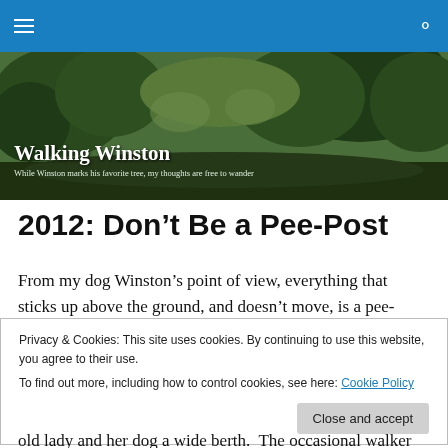Walking Winston — navigation bar with hamburger menu and search icon
[Figure (photo): Green-tinted forest/woodland path banner image with overlaid blog title 'Walking Winston' and tagline 'While Winston marks his favorite tree, my thoughts are free to wander']
2012: Don't Be a Pee-Post
From my dog Winston's point of view, everything that sticks up above the ground, and doesn't move, is a pee-
Privacy & Cookies: This site uses cookies. By continuing to use this website, you agree to their use.
To find out more, including how to control cookies, see here: Cookie Policy
old lady and her dog a wide berth.  The occasional walker